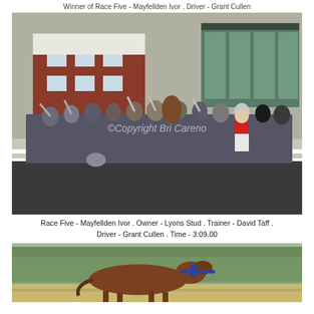Winner of Race Five - Mayfellden Ivor . Driver - Grant Cullen
[Figure (photo): Group celebration photo at a racecourse. A large group of people posing and cheering in front of a red brick building and glass-fronted grandstand. A horse is visible in the centre background. One person is wearing a jockey's red and white silks. A watermark reads '©Copyright Bri Careno'. The track surface is dark asphalt.]
Race Five - Mayfellden Ivor . Owner - Lyons Stud . Trainer - David Taff . Driver - Grant Cullen . Time - 3:09.00
[Figure (photo): A horse wearing blue harness gear racing on a track, viewed from the side. Green trees are visible in the blurred background.]